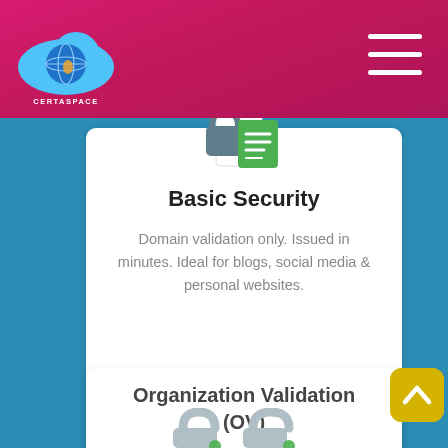[Figure (logo): Certaspace logo: blue cloud with globe, white text CERTASPACE below]
[Figure (illustration): Hamburger menu icon (three white horizontal lines) in top right of pink header]
[Figure (illustration): Basic Security card icon: padlock with green document overlay]
Basic Security
Domain validation only. Issued in minutes. Ideal for blogs, social media & personal websites.
[Figure (illustration): Gray Buy button with rounded corners]
Organization Validation (OV)
[Figure (illustration): Two gray padlock icons partially visible at bottom of card]